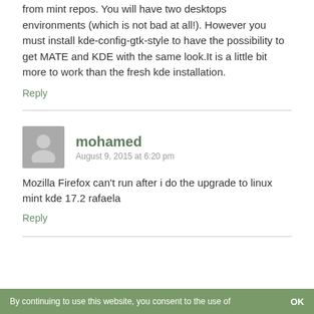from mint repos. You will have two desktops environments (which is not bad at all!). However you must install kde-config-gtk-style to have the possibility to get MATE and KDE with the same look.It is a little bit more to work than the fresh kde installation.
Reply
mohamed
August 9, 2015 at 6:20 pm
Mozilla Firefox can't run after i do the upgrade to linux mint kde 17.2 rafaela
Reply
By continuing to use this website, you consent to the use of
OK